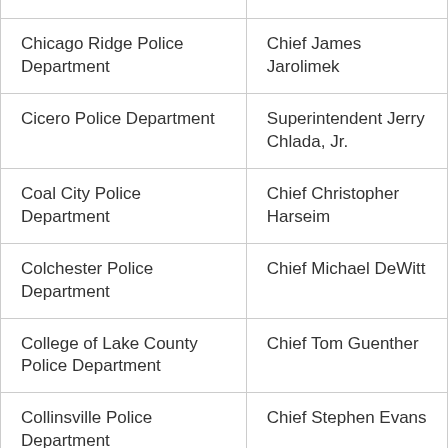| Agency | Contact |
| --- | --- |
| Chicago Ridge Police Department | Chief James Jarolimek |
| Cicero Police Department | Superintendent Jerry Chlada, Jr. |
| Coal City Police Department | Chief Christopher Harseim |
| Colchester Police Department | Chief Michael DeWitt |
| College of Lake County Police Department | Chief Tom Guenther |
| Collinsville Police Department | Chief Stephen Evans |
| Cook County Sheriff's Office | Sheriff Thomas Dart |